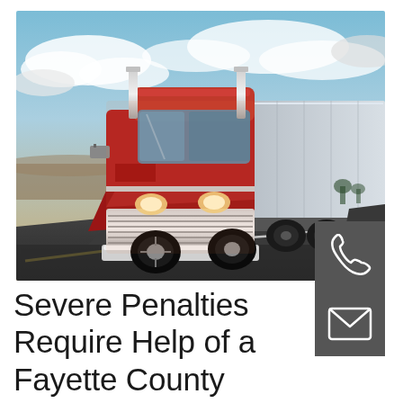[Figure (photo): A large red commercial semi-truck with chrome grill driving on a highway with motion blur, dramatic cloudy sky backdrop. Two contact icons overlay the bottom-right: a telephone handset icon and an envelope/mail icon, both on dark gray square backgrounds.]
Severe Penalties Require Help of a Fayette County Commercial Truck Driver